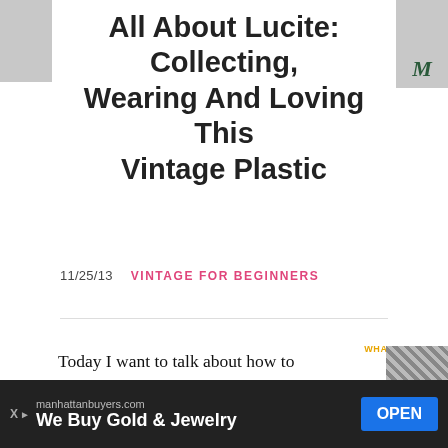[Figure (photo): Left image strip/thumbnail at top left]
[Figure (photo): Right image strip/thumbnail at top right with green letter M]
All About Lucite: Collecting, Wearing And Loving This Vintage Plastic
11/25/13   VINTAGE FOR BEGINNERS
Today I want to talk about how to identify and collect Lucite. I've been a collector of Bakelite for a few years and I love my beautiful collection dearly but I don't think I'd wear it at all if it weren't affordable in my neck of the woods.
[Figure (infographic): What's Next panel with Lucite thumbnail]
[Figure (infographic): Ad banner: manhattanbuyers.com We Buy Gold & Jewelry OPEN]